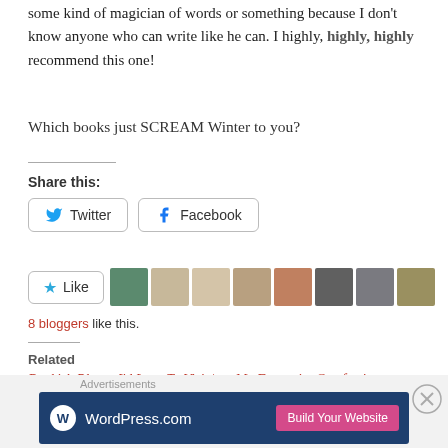some kind of magician of words or something because I don't know anyone who can write like he can. I highly, highly, highly recommend this one!
Which books just SCREAM Winter to you?
Share this:
[Figure (screenshot): Twitter and Facebook share buttons]
[Figure (screenshot): Like button with 8 blogger avatars]
8 bloggers like this.
Related
Bookish Places I'd Love To Visit |
My Favourite Comforting
[Figure (screenshot): WordPress.com advertisement banner with Build Your Website button]